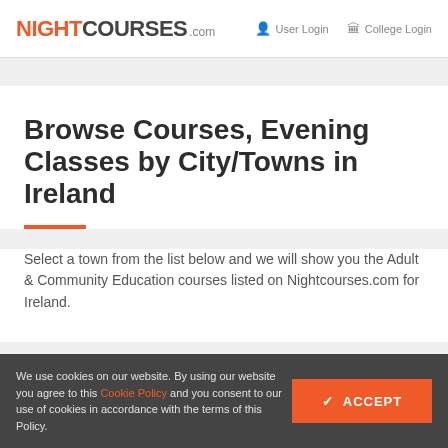NIGHTCOURSES.com  User Login  College Login
Browse Courses, Evening Classes by City/Towns in Ireland
Select a town from the list below and we will show you the Adult & Community Education courses listed on Nightcourses.com for Ireland.
We use cookies on our website. By using our website you agree to this Cookie Policy and you consent to our use of cookies in accordance with the terms of this Policy.